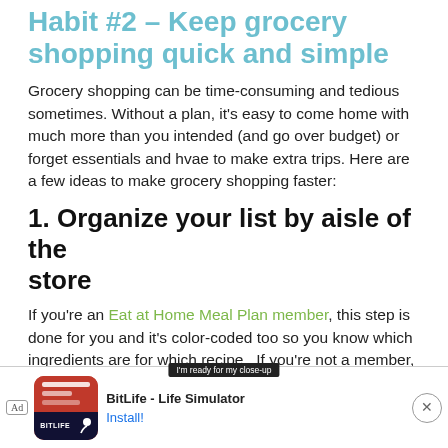Habit #2 – Keep grocery shopping quick and simple
Grocery shopping can be time-consuming and tedious sometimes. Without a plan, it's easy to come home with much more than you intended (and go over budget) or forget essentials and hvae to make extra trips. Here are a few ideas to make grocery shopping faster:
1. Organize your list by aisle of the store
If you're an Eat at Home Meal Plan member, this step is done for you and it's color-coded too so you know which ingredients are for which recipe.  If you're not a member, go through make during its to
[Figure (screenshot): Advertisement banner for BitLife - Life Simulator app with 'I'm ready for my close-up' label, showing the app icon and an Install button, with a close (X) button on the right.]